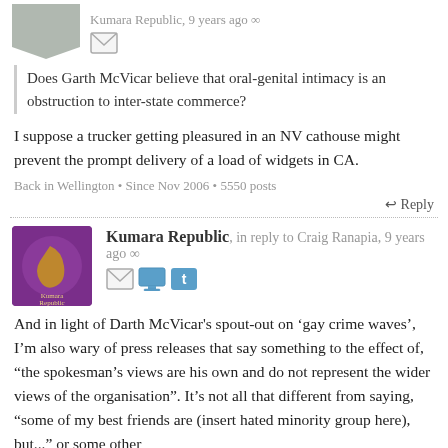Kumara Republic, 9 years ago ∞
Does Garth McVicar believe that oral-genital intimacy is an obstruction to inter-state commerce?
I suppose a trucker getting pleasured in an NV cathouse might prevent the prompt delivery of a load of widgets in CA.
Back in Wellington • Since Nov 2006 • 5550 posts
↩ Reply
Kumara Republic, in reply to Craig Ranapia, 9 years ago ∞
And in light of Darth McVicar's spout-out on 'gay crime waves', I'm also wary of press releases that say something to the effect of, "the spokesman's views are his own and do not represent the wider views of the organisation". It's not all that different from saying, "some of my best friends are (insert hated minority group here), but..." or some other